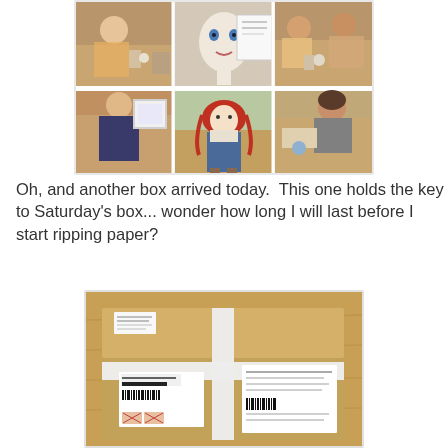[Figure (photo): Collage of 6 photos showing women at tables working on dolls and crafts. Top row: three photos of women painting/crafting at wooden tables. Bottom row: woman holding a doll frame, a rag doll with red hair in jeans/overalls, and a woman working on a craft project.]
Oh, and another box arrived today.  This one holds the key to Saturday's box... wonder how long I will last before I start ripping paper?
[Figure (photo): Photo of a brown cardboard box on a wooden table, wrapped with white tape in a cross pattern, with two shipping labels attached to the front.]